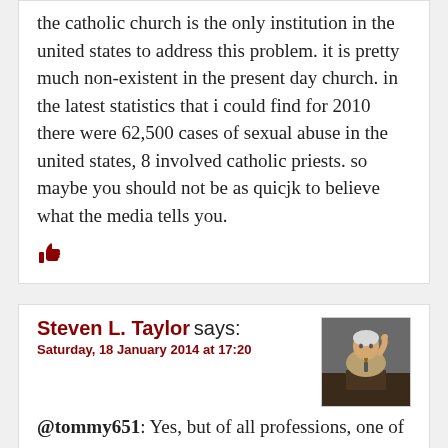the catholic church is the only institution in the united states to address this problem. it is pretty much non-existent in the present day church. in the latest statistics that i could find for 2010 there were 62,500 cases of sexual abuse in the united states, 8 involved catholic priests. so maybe you should not be as quicjk to believe what the media tells you.
[Figure (other): Red thumbs-up icon (like button)]
Steven L. Taylor says: Saturday, 18 January 2014 at 17:20
[Figure (photo): Avatar photo of Steven L. Taylor, a man speaking at a podium]
@tommy651: Yes, but of all professions, one of the ones that should be held to the highest account in these matters would be the clergy. Further, Church leadership has not been as proactive nor as transparent as they should have been.
[Figure (other): Red thumbs-up icon (like button)]